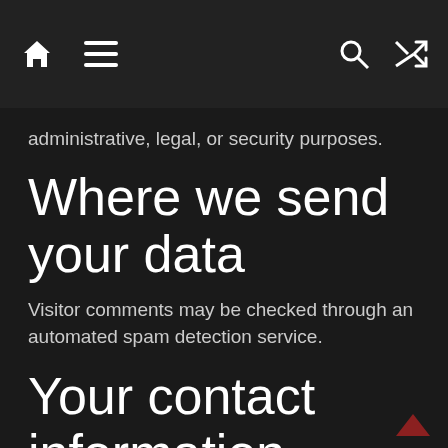🏠 ☰ 🔍 ⇄
administrative, legal, or security purposes.
Where we send your data
Visitor comments may be checked through an automated spam detection service.
Your contact information
Additional information